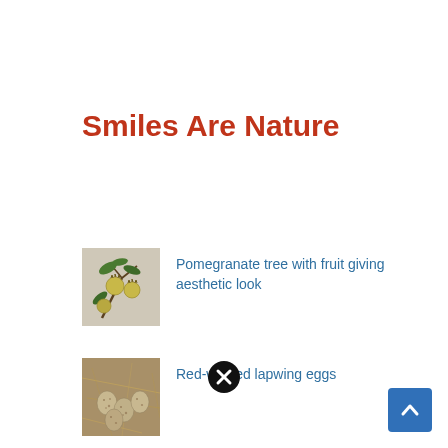Smiles Are Nature
[Figure (photo): Pomegranate tree branch with small round green/yellow fruits hanging among leaves]
Pomegranate tree with fruit giving aesthetic look
[Figure (photo): Red-wattled lapwing eggs on ground among dry grass and twigs]
Red-wattled lapwing eggs
[Figure (other): Close button icon - black circle with white X]
[Figure (other): Scroll to top button - blue square with white upward chevron arrow]